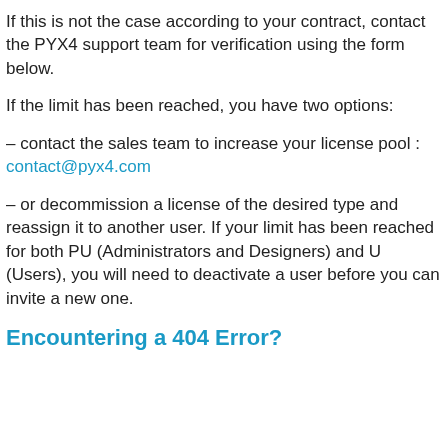If this is not the case according to your contract, contact the PYX4 support team for verification using the form below.
If the limit has been reached, you have two options:
– contact the sales team to increase your license pool : contact@pyx4.com
– or decommission a license of the desired type and reassign it to another user. If your limit has been reached for both PU (Administrators and Designers) and U (Users), you will need to deactivate a user before you can invite a new one.
Encountering a 404 Error?